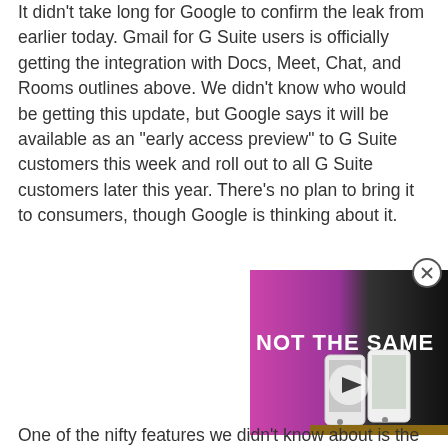It didn't take long for Google to confirm the leak from earlier today. Gmail for G Suite users is officially getting the integration with Docs, Meet, Chat, and Rooms outlines above. We didn't know who would be getting this update, but Google says it will be available as an "early access preview" to G Suite customers this week and roll out to all G Suite customers later this year. There's no plan to bring it to consumers, though Google is thinking about it.
[Figure (screenshot): Video player thumbnail showing text 'NOT THE SAME' over an image of two phones side by side, with a play button overlay]
One of the nifty features we didn't know about is the...